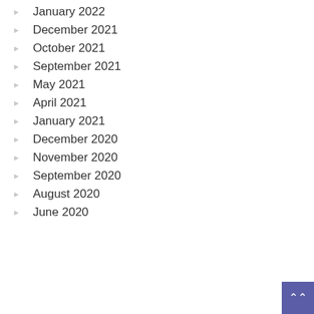January 2022
December 2021
October 2021
September 2021
May 2021
April 2021
January 2021
December 2020
November 2020
September 2020
August 2020
June 2020